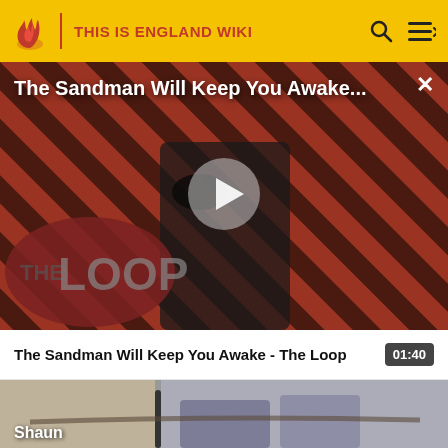THIS IS ENGLAND WIKI
[Figure (screenshot): Video thumbnail for 'The Sandman Will Keep You Awake - The Loop' with play button overlay, diagonal red and black striped background, dark figure with a crow, and 'THE LOOP' text logo]
The Sandman Will Keep You Awake - The Loop  01:40
[Figure (screenshot): Thumbnail image showing a person from waist down holding something, with label 'Shaun' at the bottom]